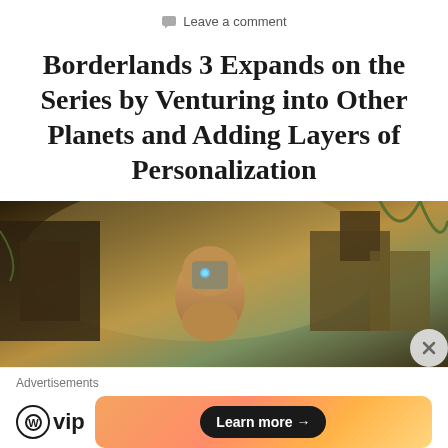Leave a comment
Borderlands 3 Expands on the Series by Venturing into Other Planets and Adding Layers of Personalization
[Figure (photo): Screenshot from Borderlands 3 showing a masked character (Psycho) in a post-apocalyptic environment with shanty structures and moody lighting]
Advertisements
[Figure (logo): WordPress VIP logo with circular W icon followed by 'vip' text]
[Figure (infographic): Orange gradient advertisement banner with a 'Learn more' button]